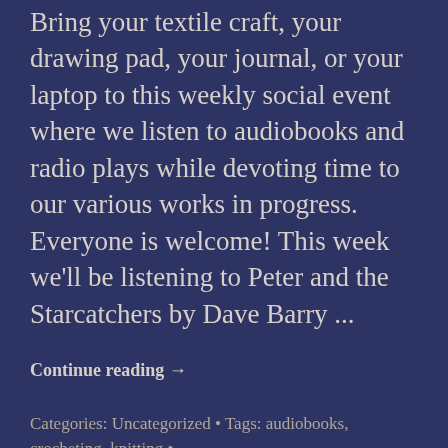Bring your textile craft, your drawing pad, your journal, or your laptop to this weekly social event where we listen to audiobooks and radio plays while devoting time to our various works in progress. Everyone is welcome! This week we'll be listening to Peter and the Starcatchers by Dave Barry ...
Continue reading →
Categories: Uncategorized • Tags: audiobooks, crocheting, knitting •